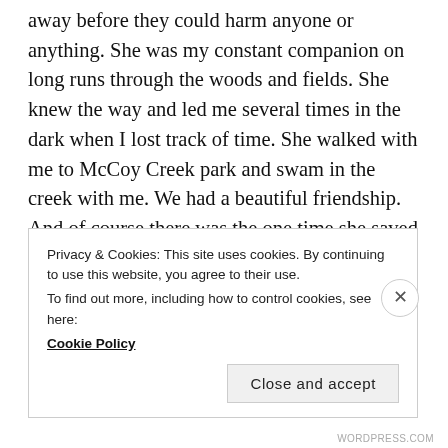away before they could harm anyone or anything. She was my constant companion on long runs through the woods and fields. She knew the way and led me several times in the dark when I lost track of time. She walked with me to McCoy Creek park and swam in the creek with me. We had a beautiful friendship. And of course there was the one time she saved my life. We were almost to McCoy Creek one summer day after chores to cool off and three big dogs came running after us with snarls and barks, up to no good at all. Before I could even tell
Privacy & Cookies: This site uses cookies. By continuing to use this website, you agree to their use.
To find out more, including how to control cookies, see here:
Cookie Policy
Close and accept
WORDPRESS.COM